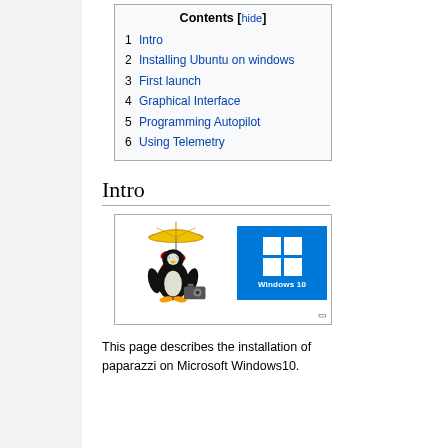| # | Section |
| --- | --- |
| 1 | Intro |
| 2 | Installing Ubuntu on windows |
| 3 | First launch |
| 4 | Graphical Interface |
| 5 | Programming Autopilot |
| 6 | Using Telemetry |
Intro
[Figure (illustration): Paparazzi UAV logo (penguin with umbrella and camera) alongside Windows 10 logo]
This page describes the installation of paparazzi on Microsoft Windows10.